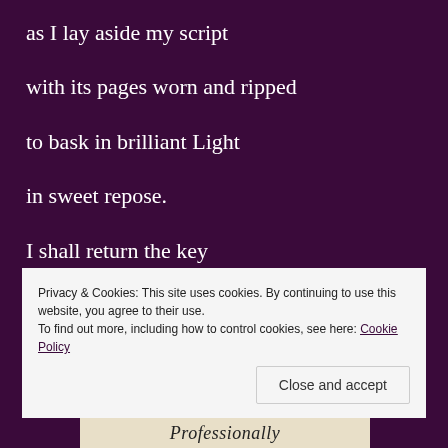as I lay aside my script
with its pages worn and ripped
to bask in brilliant Light
in sweet repose.
I shall return the key
until it’s time for me
Privacy & Cookies: This site uses cookies. By continuing to use this website, you agree to their use. To find out more, including how to control cookies, see here: Cookie Policy
Close and accept
Professionally